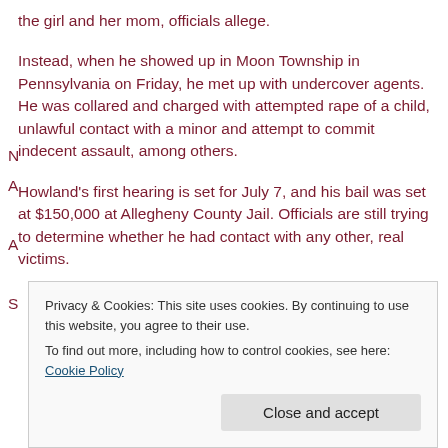the girl and her mom, officials allege.
Instead, when he showed up in Moon Township in Pennsylvania on Friday, he met up with undercover agents. He was collared and charged with attempted rape of a child, unlawful contact with a minor and attempt to commit indecent assault, among others.
Howland's first hearing is set for July 7, and his bail was set at $150,000 at Allegheny County Jail. Officials are still trying to determine whether he had contact with any other, real victims.
Privacy & Cookies: This site uses cookies. By continuing to use this website, you agree to their use.
To find out more, including how to control cookies, see here: Cookie Policy
Close and accept